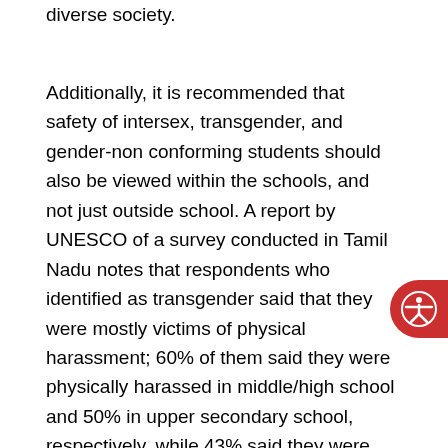diverse society.
Additionally, it is recommended that safety of intersex, transgender, and gender-non conforming students should also be viewed within the schools, and not just outside school. A report by UNESCO of a survey conducted in Tamil Nadu notes that respondents who identified as transgender said that they were mostly victims of physical harassment; 60% of them said they were physically harassed in middle/high school and 50% in upper secondary school, respectively, while 43% said they were sexually harassed in elementary school. However, only 18% of the participants reported incidents of bullying to school authorities. Further, the report notes that the consequences of the intimidation were quite harsh: 73% had reduced social interactions with their peers;